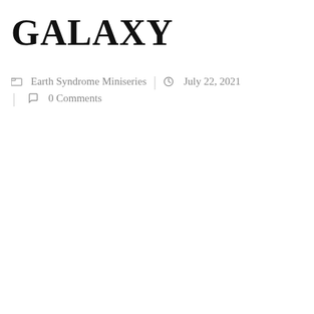GALAXY
Earth Syndrome Miniseries  |  July 22, 2021  |  0 Comments